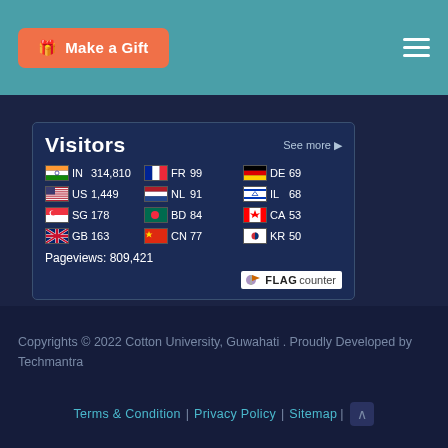Make a Gift
[Figure (infographic): Flag Counter widget showing visitor statistics by country. Visitors title with See more link. Countries listed: IN 314,810 | FR 99 | DE 69 | US 1,449 | NL 91 | IL 68 | SG 178 | BD 84 | CA 53 | GB 163 | CN 77 | KR 50. Pageviews: 809,421. FLAG counter logo at bottom right.]
Copyrights © 2022 Cotton University, Guwahati . Proudly Developed by Techmantra
Terms & Condition | Privacy Policy | Sitemap |